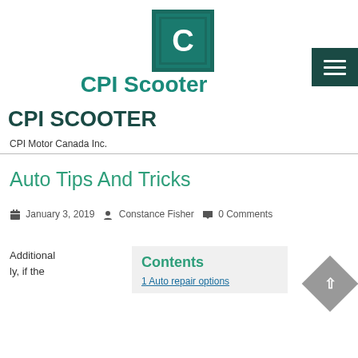[Figure (logo): CPI Scooter logo: teal square with white letter C]
CPI Scooter
CPI SCOOTER
CPI Motor Canada Inc.
Auto Tips And Tricks
January 3, 2019  Constance Fisher  0 Comments
Additionally, if the
Contents
1 Auto repair options